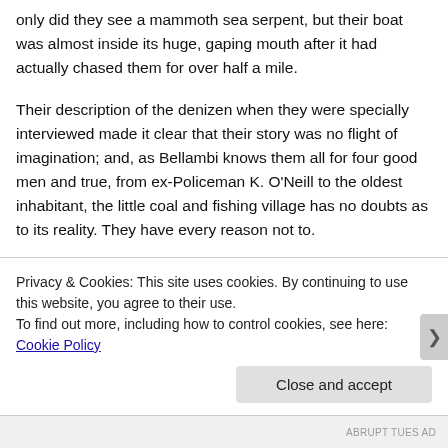only did they see a mammoth sea serpent, but their boat was almost inside its huge, gaping mouth after it had actually chased them for over half a mile.
Their description of the denizen when they were specially interviewed made it clear that their story was no flight of imagination; and, as Bellambi knows them all for four good men and true, from ex-Policeman K. O'Neill to the oldest inhabitant, the little coal and fishing village has no doubts as to its reality. They have every reason not to.
Two years ago fishermen H. Hillier and J. Ross
Privacy & Cookies: This site uses cookies. By continuing to use this website, you agree to their use.
To find out more, including how to control cookies, see here: Cookie Policy